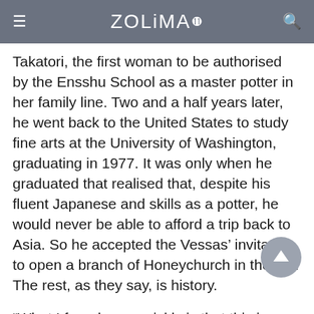≡  ZOLiMA®  🔍
Takatori, the first woman to be authorised by the Ensshu School as a master potter in her family line. Two and a half years later, he went back to the United States to study fine arts at the University of Washington, graduating in 1977. It was only when he graduated that realised that, despite his fluent Japanese and skills as a potter, he would never be able to afford a trip back to Asia. So he accepted the Vessas' invitation to open a branch of Honeychurch in the US. The rest, as they say, is history.
“What I found very quickly is that this is a very personality oriented business,” says Fairman. “What I bought reflected my aesthetic. [The